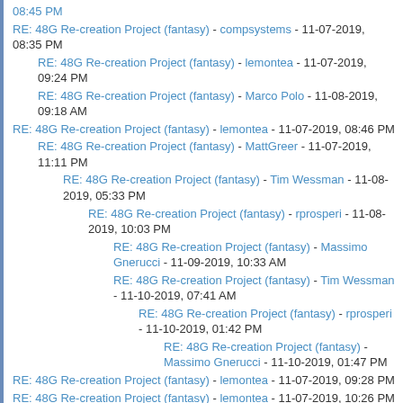RE: 48G Re-creation Project (fantasy) - compsystems - 11-07-2019, 08:35 PM
RE: 48G Re-creation Project (fantasy) - lemontea - 11-07-2019, 09:24 PM
RE: 48G Re-creation Project (fantasy) - Marco Polo - 11-08-2019, 09:18 AM
RE: 48G Re-creation Project (fantasy) - lemontea - 11-07-2019, 08:46 PM
RE: 48G Re-creation Project (fantasy) - MattGreer - 11-07-2019, 11:11 PM
RE: 48G Re-creation Project (fantasy) - Tim Wessman - 11-08-2019, 05:33 PM
RE: 48G Re-creation Project (fantasy) - rprosperi - 11-08-2019, 10:03 PM
RE: 48G Re-creation Project (fantasy) - Massimo Gnerucci - 11-09-2019, 10:33 AM
RE: 48G Re-creation Project (fantasy) - Tim Wessman - 11-10-2019, 07:41 AM
RE: 48G Re-creation Project (fantasy) - rprosperi - 11-10-2019, 01:42 PM
RE: 48G Re-creation Project (fantasy) - Massimo Gnerucci - 11-10-2019, 01:47 PM
RE: 48G Re-creation Project (fantasy) - lemontea - 11-07-2019, 09:28 PM
RE: 48G Re-creation Project (fantasy) - lemontea - 11-07-2019, 10:26 PM